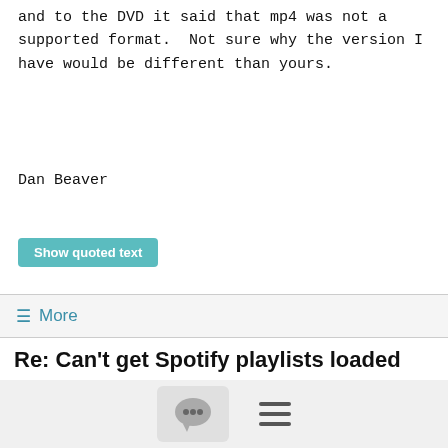and to the DVD it said that mp4 was not a supported format.  Not sure why the version I have would be different than yours.
Dan Beaver
Show quoted text
≡ More
Re: Can't get Spotify playlists loaded with BlindSpot
Sarah k Alawami
5/28/18
Actually, remember, spotify are braking the api again over the next few years in terms of third party apps? There was discussion